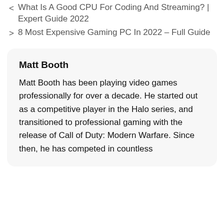< What Is A Good CPU For Coding And Streaming? | Expert Guide 2022
> 8 Most Expensive Gaming PC In 2022 – Full Guide
Matt Booth
Matt Booth has been playing video games professionally for over a decade. He started out as a competitive player in the Halo series, and transitioned to professional gaming with the release of Call of Duty: Modern Warfare. Since then, he has competed in countless